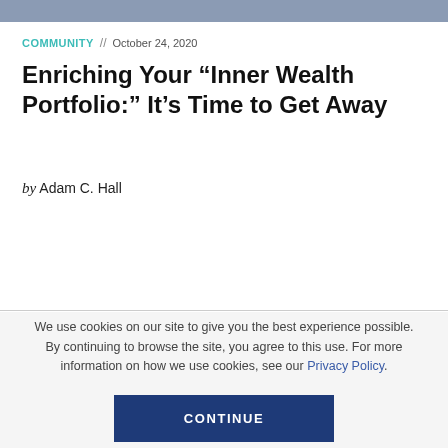COMMUNITY // October 24, 2020
Enriching Your “Inner Wealth Portfolio:” It’s Time to Get Away
by Adam C. Hall
We use cookies on our site to give you the best experience possible. By continuing to browse the site, you agree to this use. For more information on how we use cookies, see our Privacy Policy.
CONTINUE